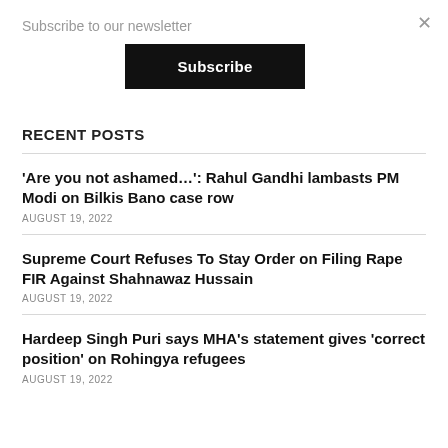Subscribe to our newsletter
Subscribe
Recent Posts
'Are you not ashamed…': Rahul Gandhi lambasts PM Modi on Bilkis Bano case row
AUGUST 19, 2022
Supreme Court Refuses To Stay Order on Filing Rape FIR Against Shahnawaz Hussain
AUGUST 19, 2022
Hardeep Singh Puri says MHA's statement gives 'correct position' on Rohingya refugees
AUGUST 19, 2022